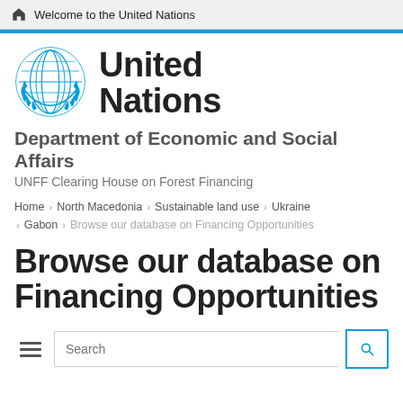Welcome to the United Nations
[Figure (logo): United Nations emblem logo in blue]
United Nations
Department of Economic and Social Affairs
UNFF Clearing House on Forest Financing
Home › North Macedonia › Sustainable land use › Ukraine › Gabon › Browse our database on Financing Opportunities
Browse our database on Financing Opportunities